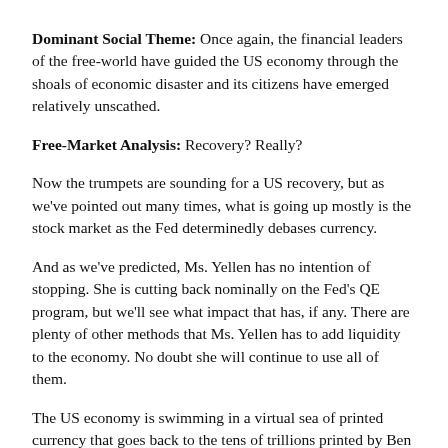Dominant Social Theme: Once again, the financial leaders of the free-world have guided the US economy through the shoals of economic disaster and its citizens have emerged relatively unscathed.
Free-Market Analysis: Recovery? Really?
Now the trumpets are sounding for a US recovery, but as we've pointed out many times, what is going up mostly is the stock market as the Fed determinedly debases currency.
And as we've predicted, Ms. Yellen has no intention of stopping. She is cutting back nominally on the Fed's QE program, but we'll see what impact that has, if any. There are plenty of other methods that Ms. Yellen has to add liquidity to the economy. No doubt she will continue to use all of them.
The US economy is swimming in a virtual sea of printed currency that goes back to the tens of trillions printed by Ben Bernanke...